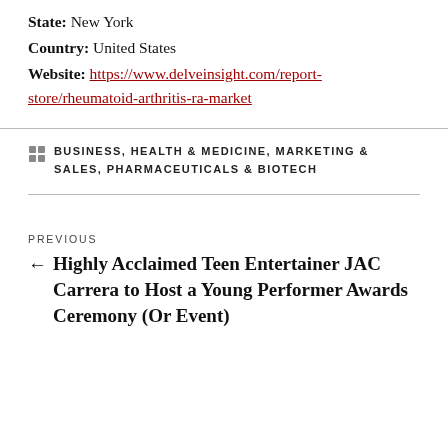State: New York
Country: United States
Website: https://www.delveinsight.com/report-store/rheumatoid-arthritis-ra-market
CATEGORIES: BUSINESS, HEALTH & MEDICINE, MARKETING & SALES, PHARMACEUTICALS & BIOTECH
PREVIOUS ← Highly Acclaimed Teen Entertainer JAC Carrera to Host a Young Performer Awards Ceremony (Or Event)